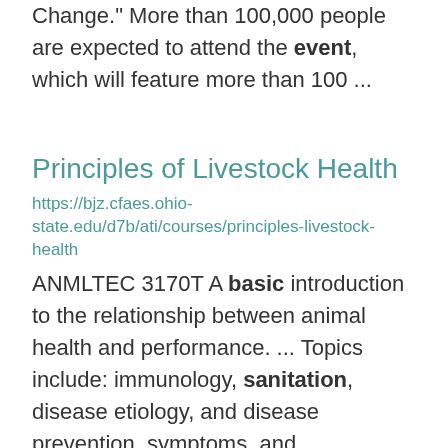Change." More than 100,000 people are expected to attend the event, which will feature more than 100 ...
Principles of Livestock Health
https://bjz.cfaes.ohio-state.edu/d7b/ati/courses/principles-livestock-health
ANMLTEC 3170T A basic introduction to the relationship between animal health and performance. ... Topics include: immunology, sanitation, disease etiology, and disease prevention, symptoms, and ...
2022 4-H Still Project Judging Wi...